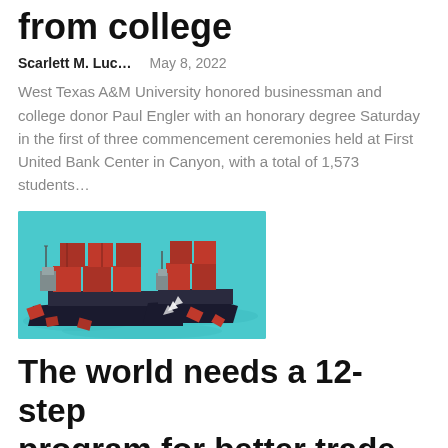from college
Scarlett M. Luc…   May 8, 2022
West Texas A&M University honored businessman and college donor Paul Engler with an honorary degree Saturday in the first of three commencement ceremonies held at First United Bank Center in Canyon, with a total of 1,573 students…
[Figure (illustration): Illustration of two cargo ships colliding at sea, with shipping containers falling into teal-colored water, pixel-art style]
The world needs a 12-step program for better trade
Scarlett M. Luc…   May 8, 2022